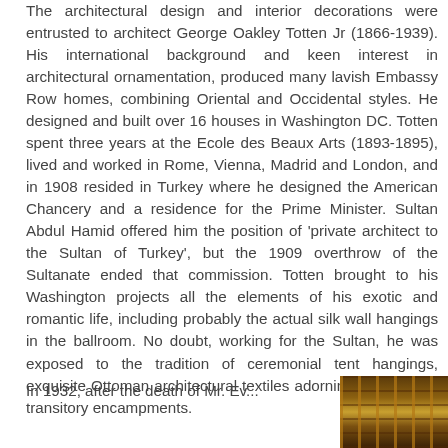The architectural design and interior decorations were entrusted to architect George Oakley Totten Jr (1866-1939). His international background and keen interest in architectural ornamentation, produced many lavish Embassy Row homes, combining Oriental and Occidental styles. He designed and built over 16 houses in Washington DC. Totten spent three years at the Ecole des Beaux Arts (1893-1895), lived and worked in Rome, Vienna, Madrid and London, and in 1908 resided in Turkey where he designed the American Chancery and a residence for the Prime Minister. Sultan Abdul Hamid offered him the position of 'private architect to the Sultan of Turkey', but the 1909 overthrow of the Sultanate ended that commission. Totten brought to his Washington projects all the elements of his exotic and romantic life, including probably the actual silk wall hangings in the ballroom. No doubt, working for the Sultan, he was exposed to the tradition of ceremonial tent hangings, exquisite Ottoman architectural textiles adorning houses and transitory encampments.
In 1932, after the death of Mr. Ev...
[Figure (photo): Photograph of an ornate ceiling with decorative architectural details, featuring gold and dark wooden elements in an Ottoman or Middle Eastern style, with repeating geometric patterns and moldings.]